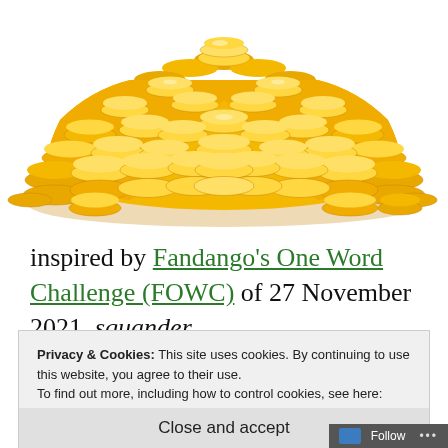[Figure (illustration): A large pile of golden coins stacked in a pyramid/mound shape on a white background.]
inspired by Fandango's One Word Challenge (FOWC) of 27 November 2021, squander.
Privacy & Cookies: This site uses cookies. By continuing to use this website, you agree to their use.
To find out more, including how to control cookies, see here: Cookie Policy
Close and accept
Follow